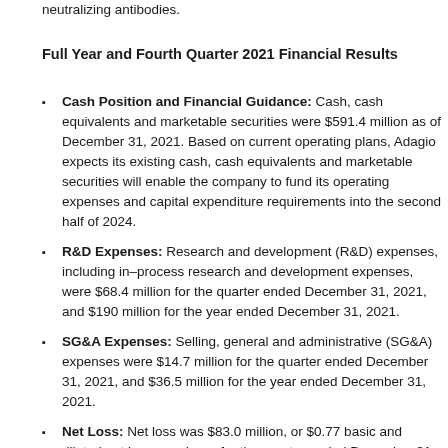neutralizing antibodies.
Full Year and Fourth Quarter 2021 Financial Results
Cash Position and Financial Guidance: Cash, cash equivalents and marketable securities were $591.4 million as of December 31, 2021. Based on current operating plans, Adagio expects its existing cash, cash equivalents and marketable securities will enable the company to fund its operating expenses and capital expenditure requirements into the second half of 2024.
R&D Expenses: Research and development (R&D) expenses, including in–process research and development expenses, were $68.4 million for the quarter ended December 31, 2021, and $190 million for the year ended December 31, 2021.
SG&A Expenses: Selling, general and administrative (SG&A) expenses were $14.7 million for the quarter ended December 31, 2021, and $36.5 million for the year ended December 31, 2021.
Net Loss: Net loss was $83.0 million, or $0.77 basic and diluted net loss per share, for the quarter ended December 31, 2021, and $226.8 million, or $5.32 basic and diluted net loss per share, for th